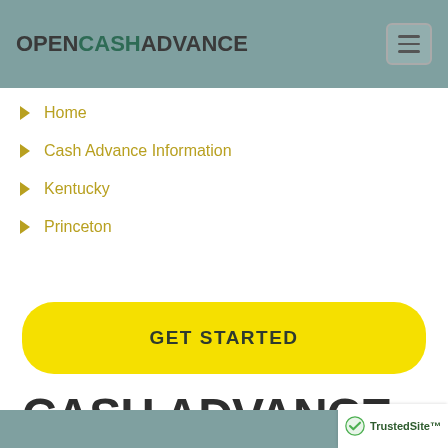OPENCASHADVANCE
Home
Cash Advance Information
Kentucky
Princeton
GET STARTED
CASH ADVANCE AND PAYDAY LOANS IN PRINCETON, KY.